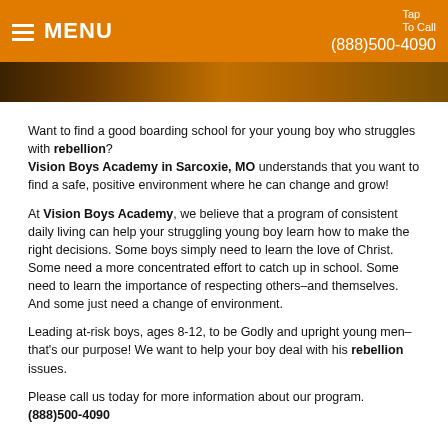MENU   Tap To Call  (888)500-4090
Want to find a good boarding school for your young boy who struggles with rebellion? Vision Boys Academy in Sarcoxie, MO understands that you want to find a safe, positive environment where he can change and grow!
At Vision Boys Academy, we believe that a program of consistent daily living can help your struggling young boy learn how to make the right decisions. Some boys simply need to learn the love of Christ. Some need a more concentrated effort to catch up in school. Some need to learn the importance of respecting others–and themselves. And some just need a change of environment.
Leading at-risk boys, ages 8-12, to be Godly and upright young men–that's our purpose! We want to help your boy deal with his rebellion issues.
Please call us today for more information about our program. (888)500-4090